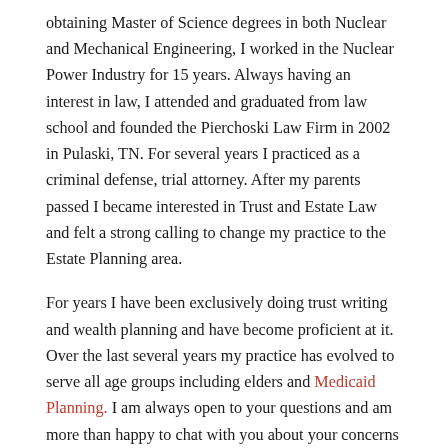obtaining Master of Science degrees in both Nuclear and Mechanical Engineering, I worked in the Nuclear Power Industry for 15 years. Always having an interest in law, I attended and graduated from law school and founded the Pierchoski Law Firm in 2002 in Pulaski, TN. For several years I practiced as a criminal defense, trial attorney. After my parents passed I became interested in Trust and Estate Law and felt a strong calling to change my practice to the Estate Planning area.
For years I have been exclusively doing trust writing and wealth planning and have become proficient at it. Over the last several years my practice has evolved to serve all age groups including elders and Medicaid Planning. I am always open to your questions and am more than happy to chat with you about your concerns so give me a call or stop by my office. You'll be glad you did!